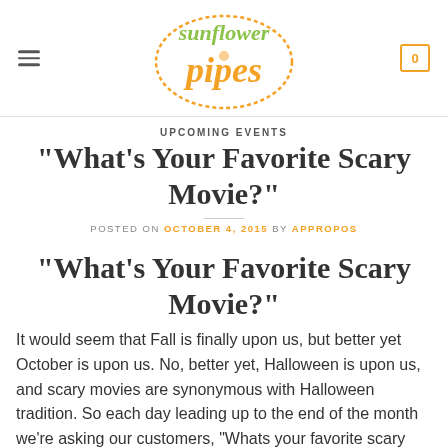Sunflower Pipes — navigation header with logo, hamburger menu, and cart icon (0)
UPCOMING EVENTS
“What’s Your Favorite Scary Movie?”
POSTED ON OCTOBER 4, 2015 BY APPROPOS
“What’s Your Favorite Scary Movie?”
It would seem that Fall is finally upon us, but better yet October is upon us. No, better yet, Halloween is upon us, and scary movies are synonymous with Halloween tradition. So each day leading up to the end of the month we’re asking our customers, “Whats your favorite scary movie?”. Stop by